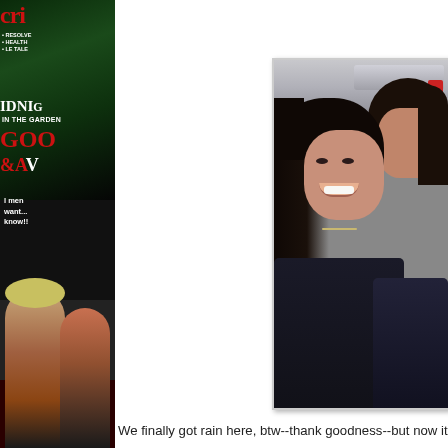[Figure (photo): Left side magazine cover partially visible, showing red and green cover with text including 'cri', 'MIDNIGHT IN THE GARDEN', 'GOOD & EVIL', and other cover lines]
[Figure (photo): Selfie photo of a woman with dark hair smiling and a man with dark hair, taken in what appears to be a kitchen or restaurant setting]
We finally got rain here, btw--thank goodness--but now it's hum